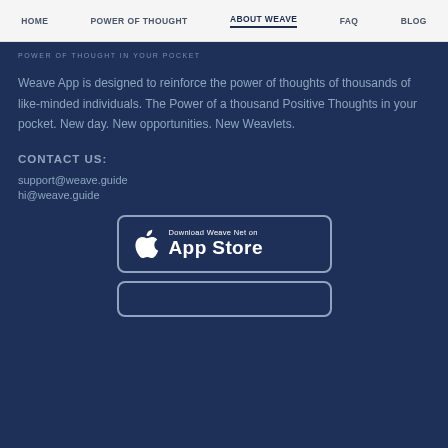HOME | POWER OF THOUGHT | ABOUT WEAVE | FAQ | BLOG
POWER OF THOUGHT IN YOUR POCKET
Weave App is designed to reinforce the power of thoughts of thousands of like-minded individuals. The Power of a thousand Positive Thoughts in your pocket. New day. New opportunities. New Weavlets.
CONTACT US:
support@weave.guide
hi@weave.guide
[Figure (other): Download Weave Net on App Store button with Apple logo]
[Figure (other): Second app store download button partially visible at bottom]